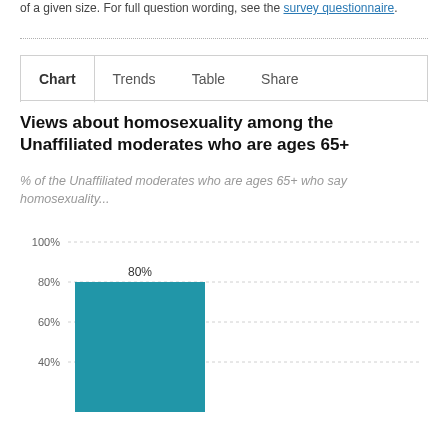of a given size. For full question wording, see the survey questionnaire.
Chart | Trends | Table | Share
Views about homosexuality among the Unaffiliated moderates who are ages 65+
% of the Unaffiliated moderates who are ages 65+ who say homosexuality...
[Figure (bar-chart): Views about homosexuality among the Unaffiliated moderates who are ages 65+]